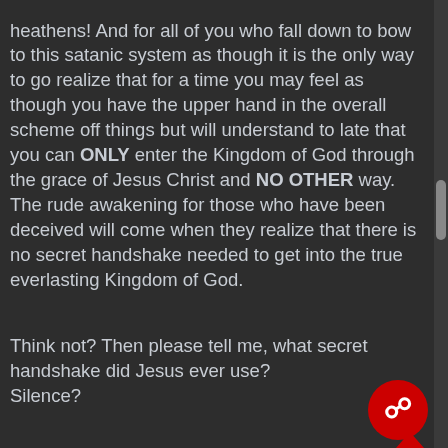heathens! And for all of you who fall down to bow to this satanic system as though it is the only way to go realize that for a time you may feel as though you have the upper hand in the overall scheme off things but will understand to late that you can ONLY enter the Kingdom of God through the grace of Jesus Christ and NO OTHER way. The rude awakening for those who have been deceived will come when they realize that there is no secret handshake needed to get into the true everlasting Kingdom of God.
Think not? Then please tell me, what secret handshake did Jesus ever use?
Silence?
I thought so.
So if YOU are the CREATED and need a secret handshake and God is the CREATOR and doesn't need one since YOUR KNOWLEDGE is as filthy rags compared to His........then do I have to bow down to what YOU worship falsely?